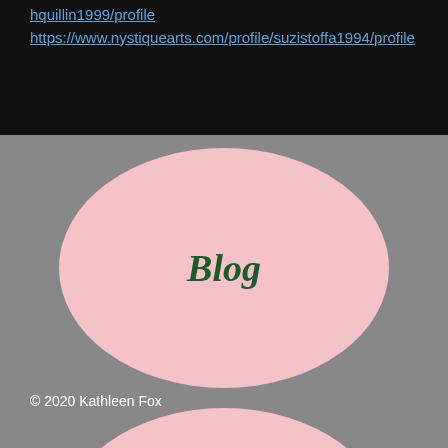hquillin1999/profile
https://www.nystiquearts.com/profile/suzistoffa1994/profile
[Figure (illustration): Pink oval button with 'Blog' label on gray background]
© 2020 Kathleen Fox
[Figure (illustration): Pink oval button with 'Installations' label on gray background]